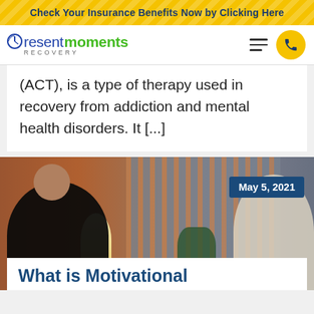Check Your Insurance Benefits Now by Clicking Here
[Figure (logo): Present Moments Recovery logo with clock icon, green and blue wordmark]
(ACT), is a type of therapy used in recovery from addiction and mental health disorders. It [...]
[Figure (photo): Two people in a therapy session, one in black turtleneck and one in white shirt, against a wood slat wall background]
May 5, 2021
What is Motivational